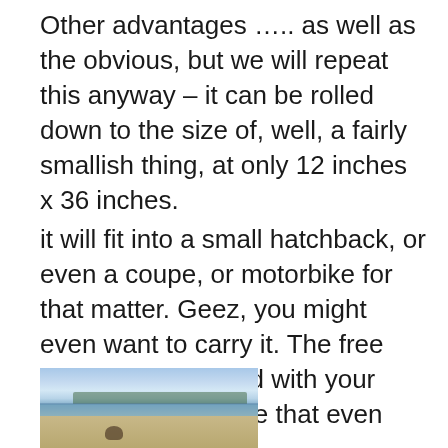Other advantages ….. as well as the obvious, but we will repeat this anyway – it can be rolled down to the size of, well, a fairly smallish thing, at only 12 inches x 36 inches.
it will fit into a small hatchback, or even a coupe, or motorbike for that matter. Geez, you might even want to carry it. The free carry case included with your purchase, will make that even easier.
[Figure (photo): A beach scene showing a sandy shoreline, calm water, treeline in the distance, and a cloudy sky. A small animal (possibly a dog) is visible in the foreground on the sand.]